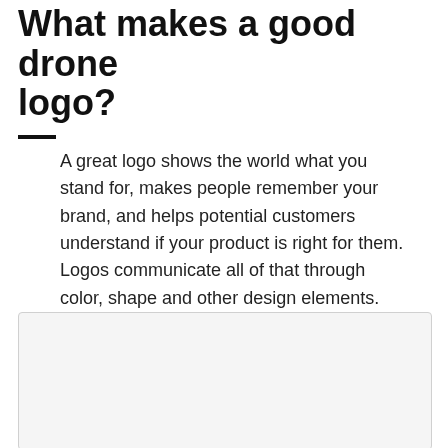What makes a good drone logo?
A great logo shows the world what you stand for, makes people remember your brand, and helps potential customers understand if your product is right for them. Logos communicate all of that through color, shape and other design elements. Learn how to make your drone logo tell your brand's story.
[Figure (other): Light grey rectangular image placeholder box]